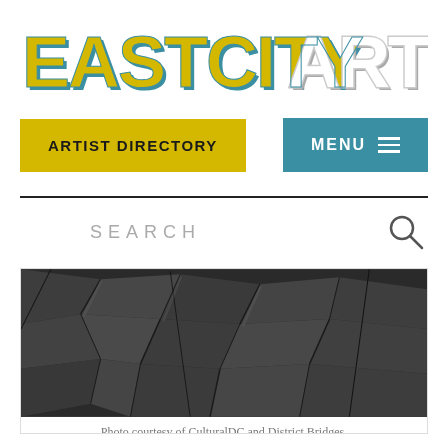[Figure (logo): EASTCITYART logo in bold stylized letters with yellow/gold fill and teal/blue shadow offset, 3D block effect. 'EASTCITY' in yellow with teal shadow, 'ART' in white/outline with gray shadow.]
ARTIST DIRECTORY
MENU ≡
SEARCH
[Figure (photo): Black and white photograph of jagged rock surface with angular stone fragments and cracks, dark dramatic lighting.]
Photo courtesy of CulturalDC and District Bridges.